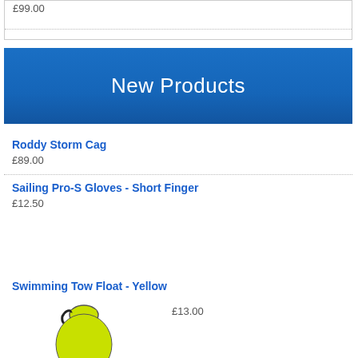£99.00
New Products
Roddy Storm Cag
£89.00
Sailing Pro-S Gloves - Short Finger
£12.50
Swimming Tow Float - Yellow
[Figure (photo): Yellow LOMO swimming tow float with black straps and LOMO branding]
£13.00